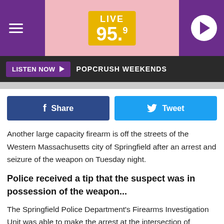[Figure (logo): Live 95.9 radio station logo with purple background, pink strip, yellow logo box, hamburger menu icon left, play button right]
LISTEN NOW ▶  POPCRUSH WEEKENDS
[Figure (infographic): Facebook Share button (dark blue) and Twitter Tweet button (light blue) side by side]
Another large capacity firearm is off the streets of the Western Massachusetts city of Springfield after an arrest and seizure of the weapon on Tuesday night.
Police received a tip that the suspect was in possession of the weapon...
The Springfield Police Department's Firearms Investigation Unit was able to make the arrest at the intersection of Fernbank Road and Castlegate Drive in Springfield shortly after 9:30 PM Tuesday. 18-year-old Joebrian Davis was taken